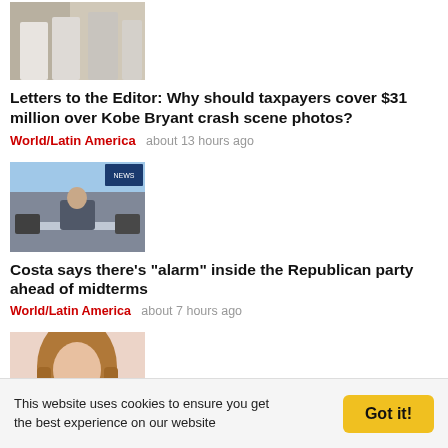[Figure (photo): Partial photo of people, cropped at top, showing legs/lower body in light colored clothing]
Letters to the Editor: Why should taxpayers cover $31 million over Kobe Bryant crash scene photos?
World/Latin America   about 13 hours ago
[Figure (photo): TV studio set with anchor/host sitting at desk, blue sky background, other people on set]
Costa says there's "alarm" inside the Republican party ahead of midterms
World/Latin America   about 7 hours ago
[Figure (photo): Portrait photo of a woman with long brown hair, light colored top]
This website uses cookies to ensure you get the best experience on our website   Got it!